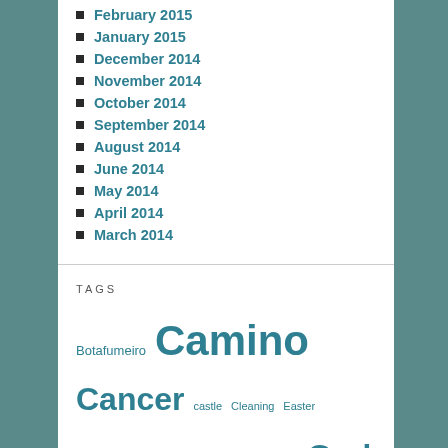February 2015
January 2015
December 2014
November 2014
October 2014
September 2014
August 2014
June 2014
May 2014
April 2014
March 2014
TAGS
Botafumeiro Camino Cancer castle Cleaning Easter Fall family Fatih Foo Fighters God Gus Heaven Hiking Hope Hummingbirds Love